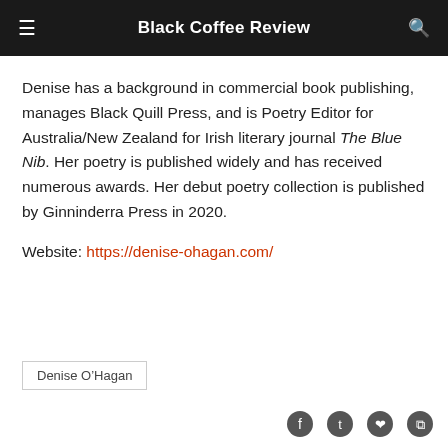Black Coffee Review
Denise has a background in commercial book publishing, manages Black Quill Press, and is Poetry Editor for Australia/New Zealand for Irish literary journal The Blue Nib. Her poetry is published widely and has received numerous awards. Her debut poetry collection is published by Ginninderra Press in 2020.
Website: https://denise-ohagan.com/
Denise O’Hagan